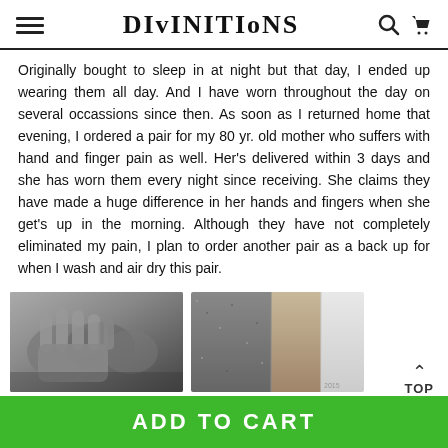DIvINITIoNS
Originally bought to sleep in at night but that day, I ended up wearing them all day. And I have worn throughout the day on several occassions since then. As soon as I returned home that evening, I ordered a pair for my 80 yr. old mother who suffers with hand and finger pain as well. Her's delivered within 3 days and she has worn them every night since receiving. She claims they have made a huge difference in her hands and fingers when she get's up in the morning. Although they have not completely eliminated my pain, I plan to order another pair as a back up for when I wash and air dry this pair.
[Figure (photo): Photo of grey compression fingerless gloves]
[Figure (photo): Photo of fabric swatches in grey, tan and white colors]
TOP